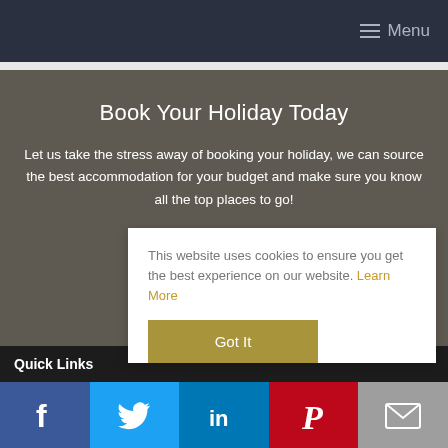≡ Menu
Book Your Holiday Today
Let us take the stress away of booking your holiday, we can source the best accommodation for your budget and make sure you know all the top places to go!
This website uses cookies to ensure you get the best experience on our website. Learn More
Got It
Quick Links